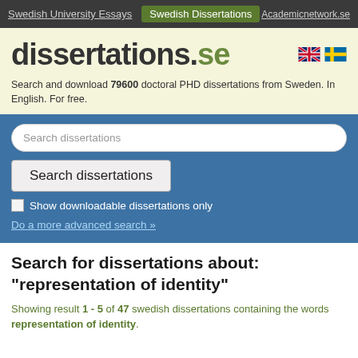Swedish University Essays | Swedish Dissertations | Academicnetwork.se
dissertations.se
Search and download 79600 doctoral PHD dissertations from Sweden. In English. For free.
Search dissertations [input field]
Search dissertations [button]
Show downloadable dissertations only
Do a more advanced search »
Search for dissertations about: "representation of identity"
Showing result 1 - 5 of 47 swedish dissertations containing the words representation of identity.